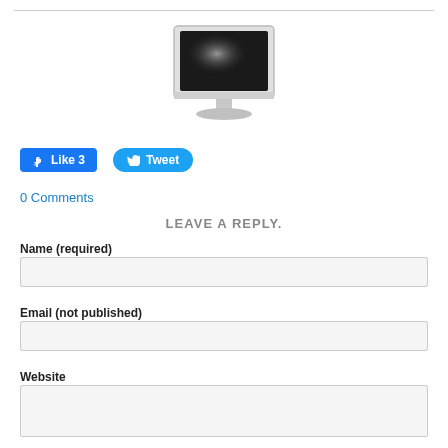[Figure (illustration): A computer monitor icon/illustration showing a grey flat-panel LCD monitor with a dark screen and a bright highlight, viewed at a slight angle, with a stand.]
[Figure (screenshot): Facebook Like button showing thumbs-up icon and 'Like 3' text on blue rounded rectangle background.]
[Figure (screenshot): Twitter Tweet button showing bird icon and 'Tweet' text on blue pill-shaped background.]
0 Comments
LEAVE A REPLY.
Name (required)
Email (not published)
Website